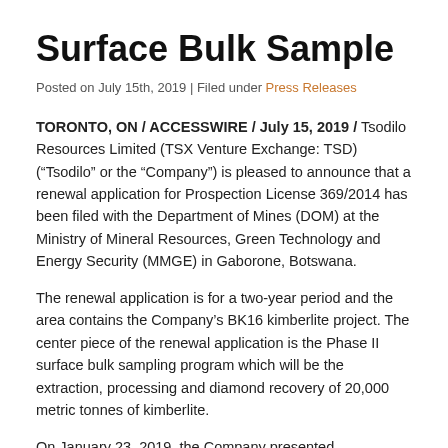Surface Bulk Sample
Posted on July 15th, 2019 | Filed under Press Releases
TORONTO, ON / ACCESSWIRE / July 15, 2019 / Tsodilo Resources Limited (TSX Venture Exchange: TSD) (“Tsodilo” or the “Company”) is pleased to announce that a renewal application for Prospection License 369/2014 has been filed with the Department of Mines (DOM) at the Ministry of Mineral Resources, Green Technology and Energy Security (MMGE) in Gaborone, Botswana.
The renewal application is for a two-year period and the area contains the Company’s BK16 kimberlite project. The center piece of the renewal application is the Phase II surface bulk sampling program which will be the extraction, processing and diamond recovery of 20,000 metric tonnes of kimberlite.
On January 23, 2019, the Company presented encouraging modelled grade and diamond value reports for the BK16